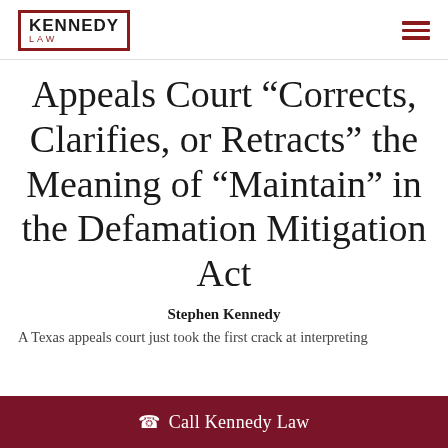KENNEDY LAW
Appeals Court “Corrects, Clarifies, or Retracts” the Meaning of “Maintain” in the Defamation Mitigation Act
Stephen Kennedy
A Texas appeals court just took the first crack at interpreting
Call Kennedy Law